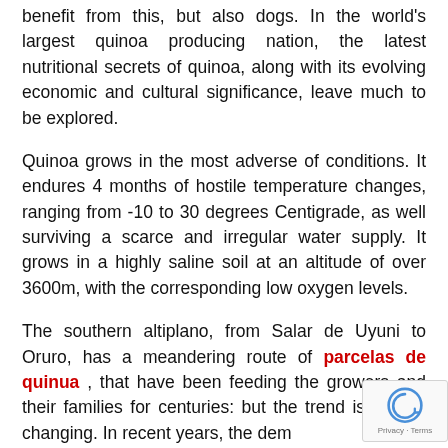benefit from this, but also dogs. In the world's largest quinoa producing nation, the latest nutritional secrets of quinoa, along with its evolving economic and cultural significance, leave much to be explored.
Quinoa grows in the most adverse of conditions. It endures 4 months of hostile temperature changes, ranging from -10 to 30 degrees Centigrade, as well surviving a scarce and irregular water supply. It grows in a highly saline soil at an altitude of over 3600m, with the corresponding low oxygen levels.
The southern altiplano, from Salar de Uyuni to Oruro, has a meandering route of parcelas de quinua , that have been feeding the growers and their families for centuries: but the trend is quickly changing. In recent years, the dem for the crop has soared, and with it its pr 'Quinoa used to be the food of the people. Now